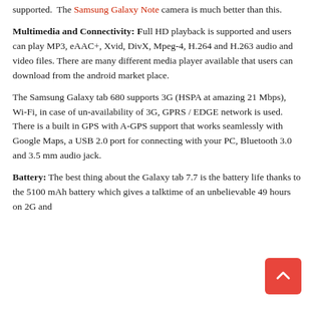supported.  The Samsung Galaxy Note camera is much better than this.
Multimedia and Connectivity: Full HD playback is supported and users can play MP3, eAAC+, Xvid, DivX, Mpeg-4, H.264 and H.263 audio and video files. There are many different media player available that users can download from the android market place.
The Samsung Galaxy tab 680 supports 3G (HSPA at amazing 21 Mbps), Wi-Fi, in case of un-availability of 3G, GPRS / EDGE network is used. There is a built in GPS with A-GPS support that works seamlessly with Google Maps, a USB 2.0 port for connecting with your PC, Bluetooth 3.0 and 3.5 mm audio jack.
Battery: The best thing about the Galaxy tab 7.7 is the battery life thanks to the 5100 mAh battery which gives a talktime of an unbelievable 49 hours on 2G and